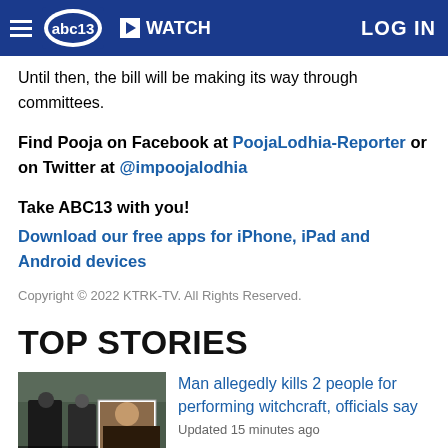ABC13 navigation bar with hamburger menu, ABC13 logo, WATCH button, and LOG IN
Until then, the bill will be making its way through committees.
Find Pooja on Facebook at PoojaLodhia-Reporter or on Twitter at @impoojalodhia
Take ABC13 with you!
Download our free apps for iPhone, iPad and Android devices
Copyright © 2022 KTRK-TV. All Rights Reserved.
TOP STORIES
Man allegedly kills 2 people for performing witchcraft, officials say
Updated 15 minutes ago